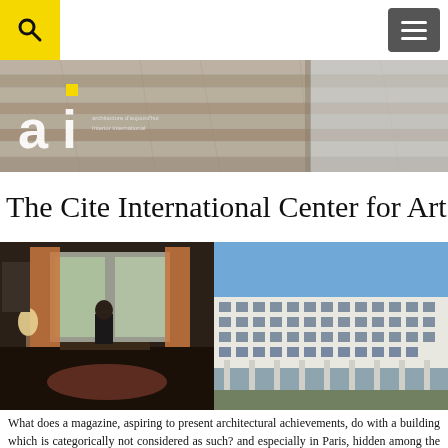Architecture magazine header with search icon and menu icon
[Figure (photo): Banner photo of wooden plank ceiling interior, with 'ai architecture d'aujourd'hui / International' magazine logo overlaid in white with yellow dot]
The Cite International Center for Art
[Figure (photo): Interior photo of an artist's studio with a person at a desk, windows, lamp, artwork on walls]
[Figure (photo): Exterior photo of a large white modernist building under blue sky, the Cite Internationale des Arts]
What does a magazine, aspiring to present architectural achievements, do with a building which is categorically not considered as such? and especially in Paris, hidden among the city's visible treasures?